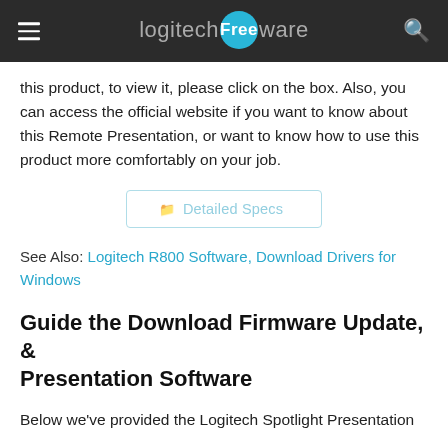logitech Freeware
this product, to view it, please click on the box. Also, you can access the official website if you want to know about this Remote Presentation, or want to know how to use this product more comfortably on your job.
[Figure (other): Detailed Specs button with folder icon, light blue outlined button]
See Also: Logitech R800 Software, Download Drivers for Windows
Guide the Download Firmware Update, & Presentation Software
Below we've provided the Logitech Spotlight Presentation